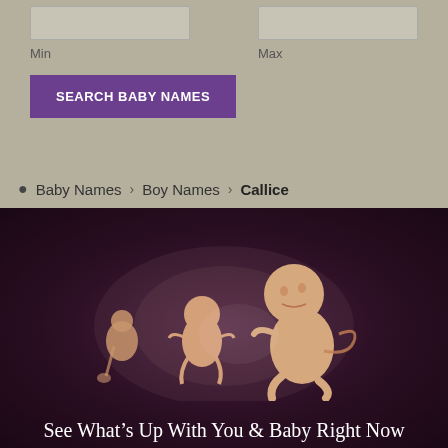Min
Max
SEARCH BABY NAMES
Baby Names > Boy Names > Callice
[Figure (illustration): Illustration of fetal development stages showing three fetuses/babies growing from early embryo stage to full-term baby against a dark purple background]
See What’s Up With You & Baby Right Now